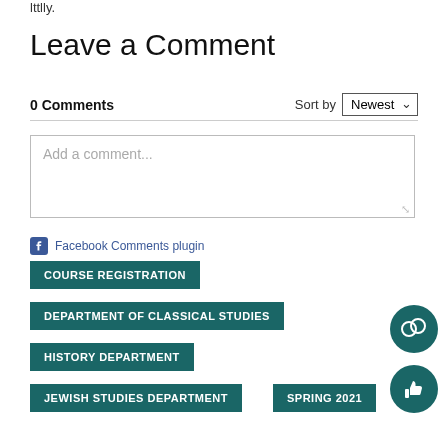lttlly.
Leave a Comment
0 Comments
Sort by Newest
[Figure (screenshot): Comment input text area with placeholder 'Add a comment...']
Facebook Comments plugin
COURSE REGISTRATION
DEPARTMENT OF CLASSICAL STUDIES
HISTORY DEPARTMENT
JEWISH STUDIES DEPARTMENT
SPRING 2021